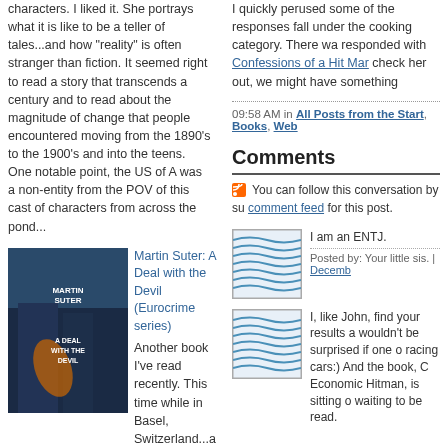characters. I liked it. She portrays what it is like to be a teller of tales...and how "reality" is often stranger than fiction. It seemed right to read a story that transcends a century and to read about the magnitude of change that people encountered moving from the 1890's to the 1900's and into the teens. One notable point, the US of A was a non-entity from the POV of this cast of characters from across the pond...
[Figure (photo): Book cover: Martin Suter A Deal with the Devil]
Martin Suter: A Deal with the Devil (Eurocrime series) Another book I've read recently. This time while in Basel, Switzerland...a book by a Swiss author. Martin Suter had me on my toes, or at least my nose in a book for a couple of days.
I quickly perused some of the responses fall under the cooking category. There wa responded with Confessions of a Hit Mar check her out, we might have something
09:58 AM in All Posts from the Start, Books, Web
Comments
You can follow this conversation by subscribing to the comment feed for this post.
I am an ENTJ.
Posted by: Your little sis. | Decemb
I, like John, find your results a wouldn't be surprised if one o racing cars:) And the book, C Economic Hitman, is sitting o waiting to be read.